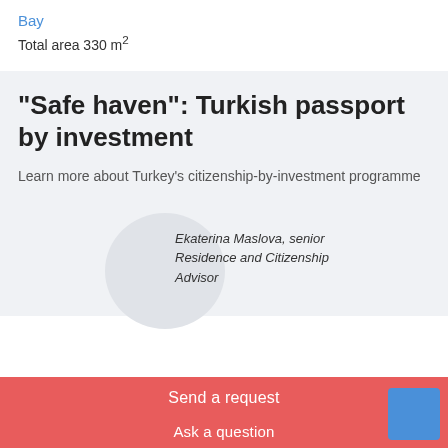Bay
Total area 330 m²
“Safe haven”: Turkish passport by investment
Learn more about Turkey’s citizenship-by-investment programme
[Figure (photo): Circular avatar photo of Ekaterina Maslova, senior Residence and Citizenship Advisor]
Ekaterina Maslova, senior Residence and Citizenship Advisor
Send a request
Ask a question